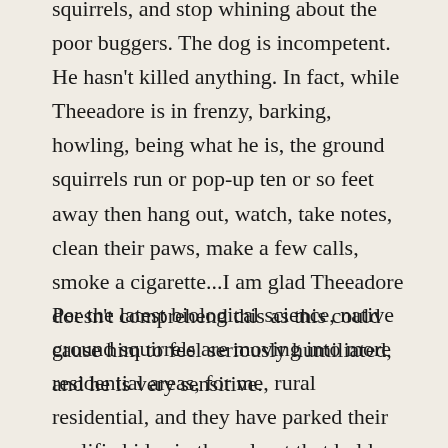squirrels, and stop whining about the poor buggers. The dog is incompetent. He hasn't killed anything. In fact, while Theeadore is in frenzy, barking, howling, being what he is, the ground squirrels run or pop-up ten or so feet away then hang out, watch, take notes, clean their paws, make a few calls, smoke a cigarette...I am glad Theeadore doesn't comprehend this as this could cause him to feel seriously humiliated, and he is very sensitive.
Per the latest biological science, native ground squirrels are moving into more residential areas, for me, rural residential, and they have parked their prolific hides in the culvert that holds our driveway up. Lots of holes. So Theeadore is permitted to explore this area not to kill anything but to hopefully